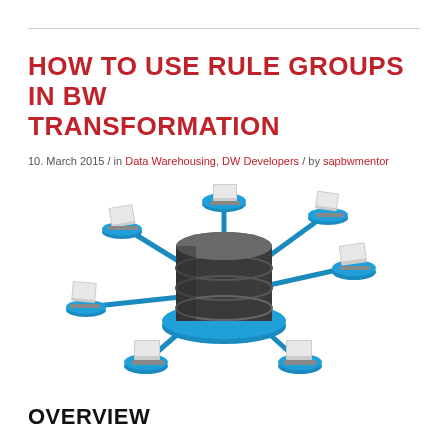HOW TO USE RULE GROUPS IN BW TRANSFORMATION
10. March 2015 / in Data Warehousing, DW Developers / by sapbwmentor
[Figure (illustration): 3D illustration of a central cylindrical database server on a blue platform connected via blue lines to five laptop computers each on their own blue circular platform, representing a data warehousing network topology.]
OVERVIEW